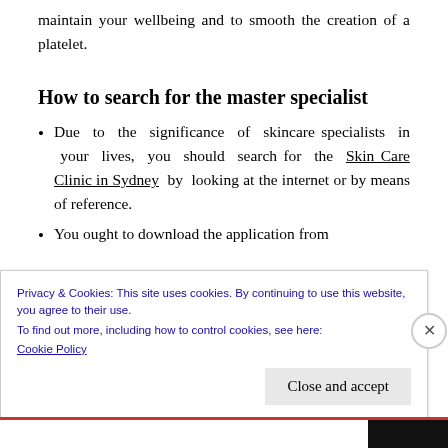maintain your wellbeing and to smooth the creation of a platelet.
How to search for the master specialist
Due to the significance of skincare specialists in your lives, you should search for the Skin Care Clinic in Sydney by looking at the internet or by means of reference.
You ought to download the application from
Privacy & Cookies: This site uses cookies. By continuing to use this website, you agree to their use.
To find out more, including how to control cookies, see here:
Cookie Policy
Close and accept